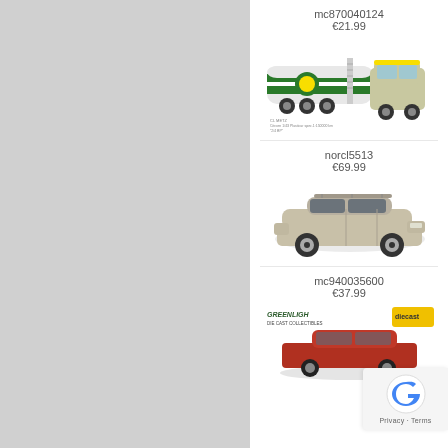[Figure (photo): Gray left panel background]
mc870040124
€21.99
[Figure (photo): Die-cast model of a BP tanker truck with green and white tank trailer and yellow cab]
norcl5513
€69.99
[Figure (photo): Die-cast model of a silver/beige Mercedes sedan car]
mc940035600
€37.99
[Figure (photo): Die-cast model of a red classic lowrider car with Greenlight branding visible]
[Figure (other): Cookie consent overlay with reCAPTCHA logo and Privacy/Terms links]